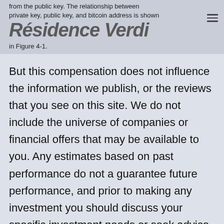from the public key. The relationship between private key, public key, and bitcoin address is shown in Figure 4-1.
Résidence Verdi
But this compensation does not influence the information we publish, or the reviews that you see on this site. We do not include the universe of companies or financial offers that may be available to you. Any estimates based on past performance do not a guarantee future performance, and prior to making any investment you should discuss your specific investment needs or seek advice from a qualified professional. The Central American country is the first nation in the world to accept Bitcoin as a form of payment. The price of the cryptocurrency has fallen more than 6% in the past 24 hours. The movie theater chain announced it will